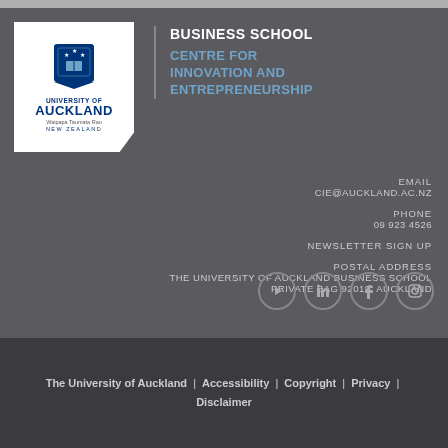[Figure (logo): University of Auckland logo with shield crest, text UNIVERSITY OF AUCKLAND, Waipapa Taumata Rau, NEW ZEALAND on white background]
BUSINESS SCHOOL
CENTRE FOR INNOVATION AND ENTREPRENEURSHIP
EMAIL
CIE@AUCKLAND.AC.NZ
PHONE
09 923 4526
NEWSLETTER SIGN UP
POSTAL ADDRESS
THE UNIVERSITY OF AUCKLAND BUSINESS SCHOOL
PRIVATE BAG 92019, AUCKLAND
[Figure (illustration): Social media icons row: YouTube, LinkedIn, Facebook, Instagram — grey circle outlines on dark background]
The University of Auckland | Accessibility | Copyright | Privacy | Disclaimer